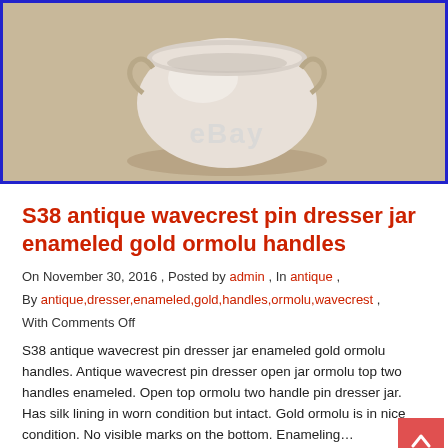[Figure (photo): eBay product photo of an antique wavecrest pin dresser jar with enameled gold ormolu handles, shown against a beige/tan background with eBay watermark]
S38 antique wavecrest pin dresser jar enameled gold ormolu handles
On November 30, 2016 , Posted by admin , In antique ,
By antique,dresser,enameled,gold,handles,ormolu,wavecrest ,
With Comments Off
S38 antique wavecrest pin dresser jar enameled gold ormolu handles. Antique wavecrest pin dresser open jar ormolu top two handles enameled. Open top ormolu two handle pin dresser jar. Has silk lining in worn condition but intact. Gold ormolu is in nice condition. No visible marks on the bottom. Enameling…
Read More →